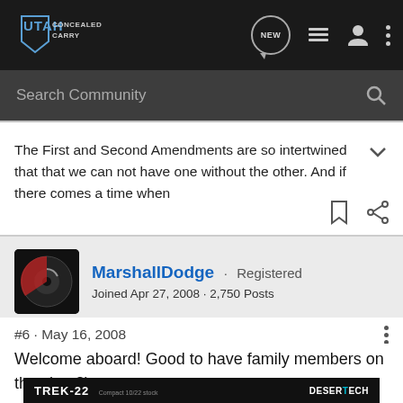Utah Concealed Carry — Search Community
The First and Second Amendments are so intertwined that that we can not have one without the other. And if there comes a time when
MarshallDodge · Registered
Joined Apr 27, 2008 · 2,750 Posts
#6 · May 16, 2008
Welcome aboard! Good to have family members on the site. 8)
[Figure (screenshot): Trek-22 Compact 10/22 stock advertisement banner with Desert Tech logo]